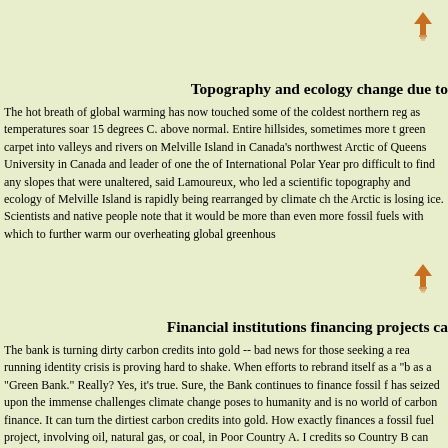[Figure (other): Orange upward arrow icon navigation element]
Topography and ecology change due to
The hot breath of global warming has now touched some of the coldest northern reg as temperatures soar 15 degrees C. above normal. Entire hillsides, sometimes more t green carpet into valleys and rivers on Melville Island in Canada's northwest Arctic of Queens University in Canada and leader of one the of International Polar Year pro difficult to find any slopes that were unaltered, said Lamoureux, who led a scientific topography and ecology of Melville Island is rapidly being rearranged by climate ch the Arctic is losing ice. Scientists and native people note that it would be more than even more fossil fuels with which to further warm our overheating global greenhouse
[Figure (other): Orange upward arrow icon navigation element]
Financial institutions financing projects ca
The bank is turning dirty carbon credits into gold -- bad news for those seeking a rea running identity crisis is proving hard to shake. When efforts to rebrand itself as a "b as a "Green Bank." Really? Yes, it's true. Sure, the Bank continues to finance fossil f has seized upon the immense challenges climate change poses to humanity and is no world of carbon finance. It can turn the dirtiest carbon credits into gold. How exactly finances a fossil fuel project, involving oil, natural gas, or coal, in Poor Country A. I credits so Country B can tell its carbon counters it's taking serious action on climate carbon credits for a price far lower than Country B would have to pay if Country B n cash to invest in equipment to make fossil fuel project slightly more efficient, the W